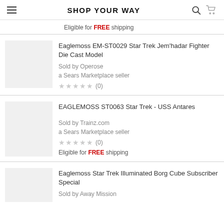SHOP YOUR WAY
Eligible for FREE shipping
Eaglemoss EM-ST0029 Star Trek Jem'hadar Fighter Die Cast Model
Sold by Operose
a Sears Marketplace seller
★★★★★ (0)
EAGLEMOSS ST0063 Star Trek - USS Antares
Sold by Trainz.com
a Sears Marketplace seller
★★★★★ (0)
Eligible for FREE shipping
Eaglemoss Star Trek Illuminated Borg Cube Subscriber Special
Sold by Away Mission